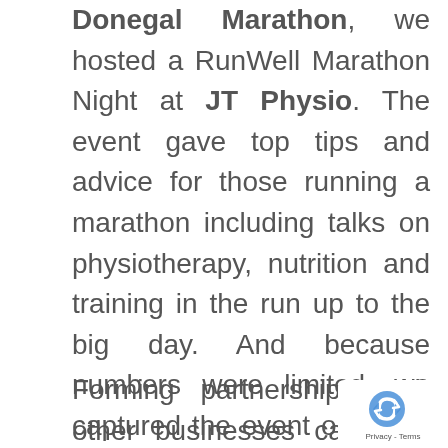Donegal Marathon, we hosted a RunWell Marathon Night at JT Physio. The event gave top tips and advice for those running a marathon including talks on physiotherapy, nutrition and training in the run up to the big day. And because numbers were limited, we captured the event on video and shared it with JT's followers online.
Forming partnerships with other businesses can also be a good